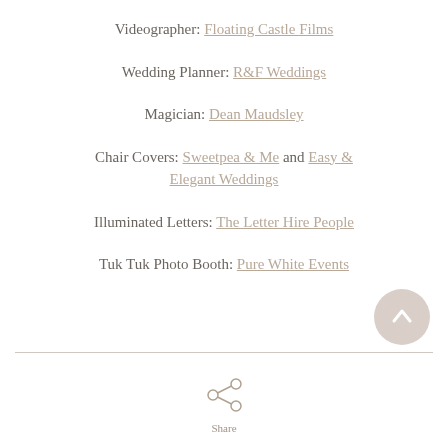Videographer: Floating Castle Films
Wedding Planner: R&F Weddings
Magician: Dean Maudsley
Chair Covers: Sweetpea & Me and Easy & Elegant Weddings
Illuminated Letters: The Letter Hire People
Tuk Tuk Photo Booth: Pure White Events
[Figure (illustration): Share icon (circle with three nodes connected by lines)]
Share